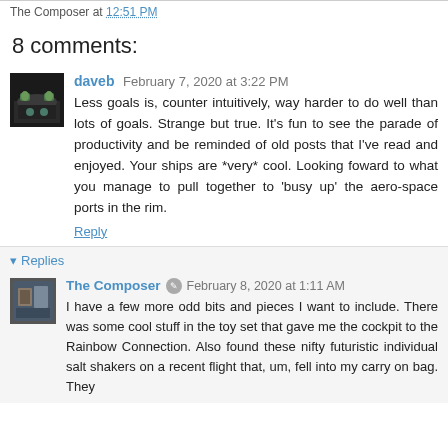The Composer at 12:51 PM
8 comments:
daveb  February 7, 2020 at 3:22 PM
Less goals is, counter intuitively, way harder to do well than lots of goals. Strange but true. It's fun to see the parade of productivity and be reminded of old posts that I've read and enjoyed. Your ships are *very* cool. Looking foward to what you manage to pull together to 'busy up' the aero-space ports in the rim.
Reply
Replies
The Composer  February 8, 2020 at 1:11 AM
I have a few more odd bits and pieces I want to include. There was some cool stuff in the toy set that gave me the cockpit to the Rainbow Connection. Also found these nifty futuristic individual salt shakers on a recent flight that, um, fell into my carry on bag. They